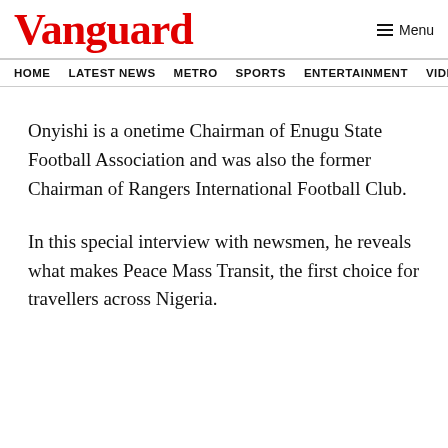Vanguard
HOME  LATEST NEWS  METRO  SPORTS  ENTERTAINMENT  VIDEOS
Onyishi is a onetime Chairman of Enugu State Football Association and was also the former Chairman of Rangers International Football Club.
In this special interview with newsmen, he reveals what makes Peace Mass Transit, the first choice for travellers across Nigeria.